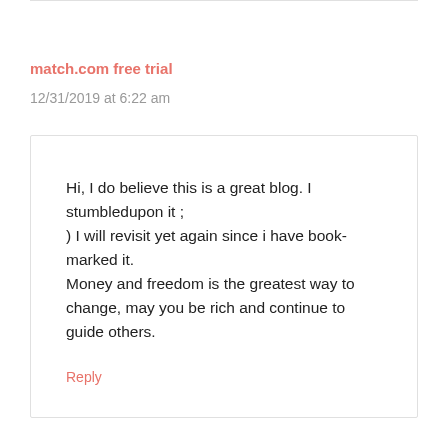match.com free trial
12/31/2019 at 6:22 am
Hi, I do believe this is a great blog. I stumbledupon it ; ) I will revisit yet again since i have book-marked it. Money and freedom is the greatest way to change, may you be rich and continue to guide others.
Reply